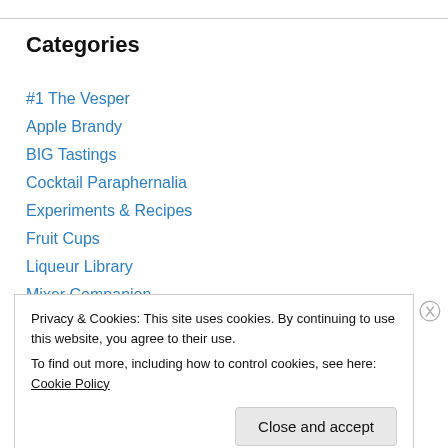Categories
#1 The Vesper
Apple Brandy
BIG Tastings
Cocktail Paraphernalia
Experiments & Recipes
Fruit Cups
Liqueur Library
Mixer Companion
Mrs. B. & The Whispers of Whisk(e)y
Product Reviews
Privacy & Cookies: This site uses cookies. By continuing to use this website, you agree to their use.
To find out more, including how to control cookies, see here: Cookie Policy
Close and accept